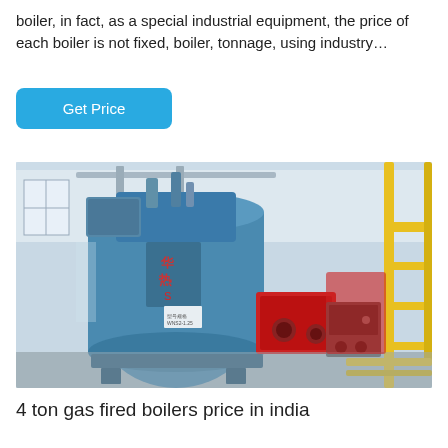boiler, in fact, as a special industrial equipment, the price of each boiler is not fixed, boiler, tonnage, using industry…
Get Price
[Figure (photo): Industrial gas fired boiler in a factory setting, large blue cylindrical boiler body with red burner assembly, yellow structural supports, white industrial building interior]
4 ton gas fired boilers price in india